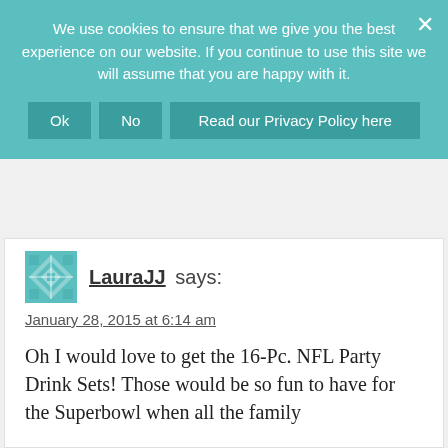We use cookies to ensure that we give you the best experience on our website. If you continue to use this site we will assume that you are happy with it.
Ok  No  Read our Privacy Policy here
turns 5 in May. I like the bubble blower and puzzle set.
Reply
LauraJJ says:
January 28, 2015 at 6:14 am
Oh I would love to get the 16-Pc. NFL Party Drink Sets! Those would be so fun to have for the Superbowl when all the family